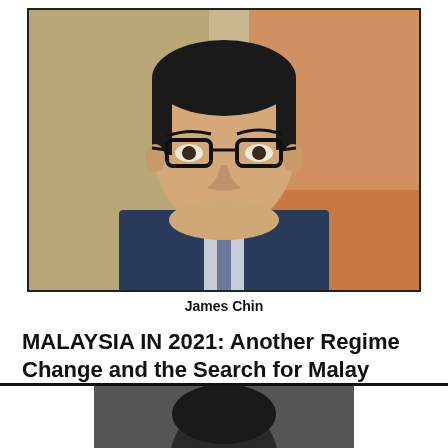[Figure (photo): Portrait photo of James Chin, an Asian man wearing glasses and a dark suit with a tie, seated indoors with a warm-toned background.]
James Chin
MALAYSIA IN 2021: Another Regime Change and the Search for Malay Political Stability
July 20, 2022
[Figure (photo): Partial view of a person's head from behind, partially cropped at the bottom of the page.]